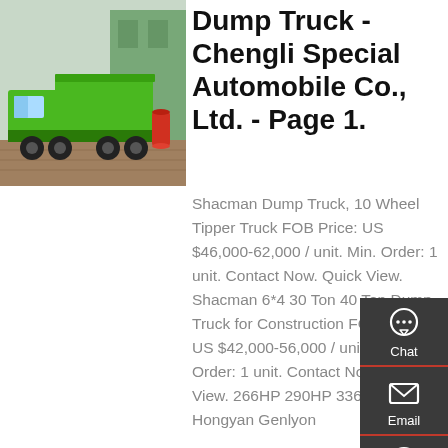[Figure (photo): Green dump truck parked outside a building with a red cylinder visible nearby]
Dump Truck - Chengli Special Automobile Co., Ltd. - Page 1.
Shacman Dump Truck, 10 Wheel Tipper Truck FOB Price: US $46,000-62,000 / unit. Min. Order: 1 unit. Contact Now. Quick View. Shacman 6*4 30 Ton 40 Ton Dump Truck for Construction FOB Price: US $42,000-56,000 / unit. Min. Order: 1 unit. Contact Now. Quick View. 266HP 290HP 336HP 371HP Hongyan Genlyon